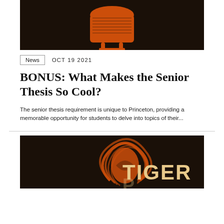[Figure (illustration): Dark background with orange microphone graphic (Princeton podcast style artwork) — top portion cropped]
News   OCT 19 2021
BONUS: What Makes the Senior Thesis So Cool?
The senior thesis requirement is unique to Princeton, providing a memorable opportunity for students to delve into topics of their...
[Figure (illustration): Dark background with orange fingerprint swirl graphic and partial text reading TIGER — Princeton podcast artwork, bottom portion cropped]